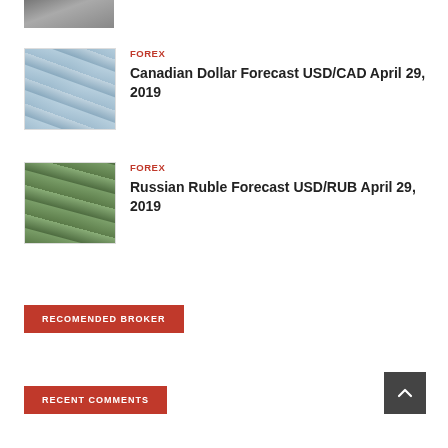[Figure (photo): Partial thumbnail of a financial/money image at top of page (cropped)]
FOREX
Canadian Dollar Forecast USD/CAD April 29, 2019
[Figure (photo): Thumbnail of stacked US dollar bills on blue background]
FOREX
Russian Ruble Forecast USD/RUB April 29, 2019
[Figure (photo): Thumbnail of US dollar bills (green)]
RECOMENDED BROKER
RECENT COMMENTS